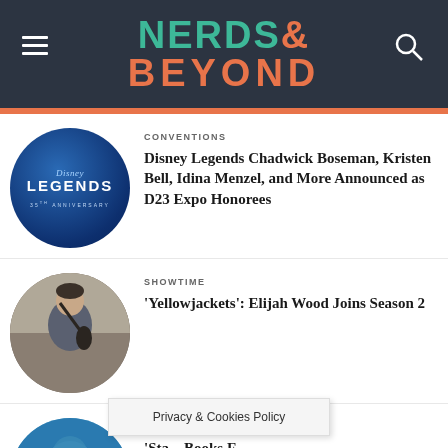NERDS& BEYOND
CONVENTIONS
Disney Legends Chadwick Boseman, Kristen Bell, Idina Menzel, and More Announced as D23 Expo Honorees
SHOWTIME
'Yellowjackets': Elijah Wood Joins Season 2
BOOKS
'Sta... Books F...
Privacy & Cookies Policy